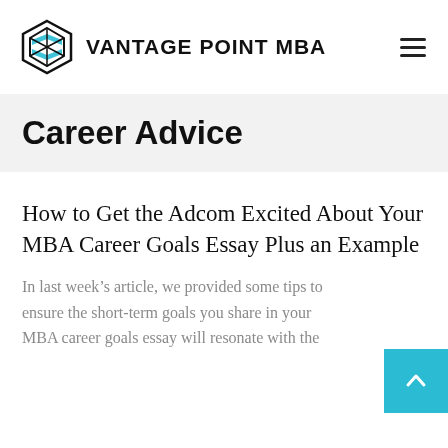[Figure (logo): Vantage Point MBA logo with geometric diamond/hexagon icon in black and teal, followed by bold text VANTAGE POINT MBA]
Career Advice
How to Get the Adcom Excited About Your MBA Career Goals Essay Plus an Example
In last week's article, we provided some tips to ensure the short-term goals you share in your MBA career goals essay will resonate with the